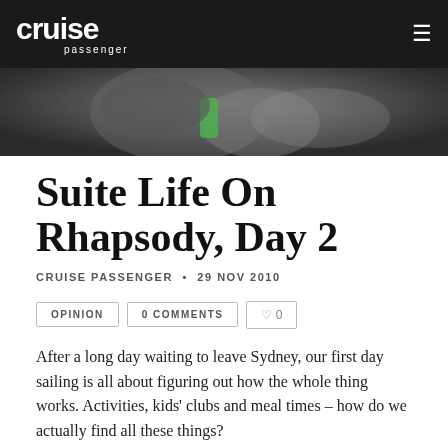cruise passenger
[Figure (photo): Close-up photo of hands, blurred background with green object visible]
Suite Life On Rhapsody, Day 2
CRUISE PASSENGER • 29 NOV 2010
OPINION   0 COMMENTS   ♡ 0
After a long day waiting to leave Sydney, our first day sailing is all about figuring out how the whole thing works. Activities, kids' clubs and meal times – how do we actually find all these things?